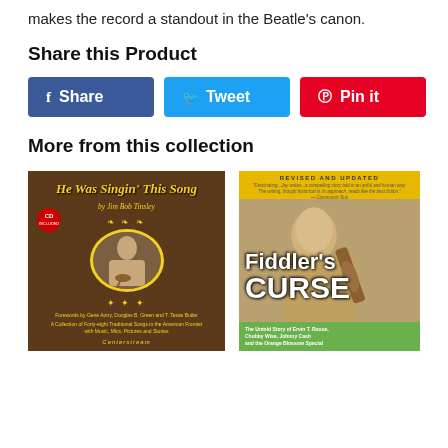makes the record a standout in the Beatle's canon.
Share this Product
Share  Tweet  Pin it
More from this collection
[Figure (photo): Two book covers side by side. Left: 'He Was Singin' This Song by Jim Bob Tinsley' — a brown textured cover with gold oval portrait of a guitar player, CD included badge, ornamental borders, and publisher Centerstream. Right: 'Fiddler's CURSE' — yellow top bar labeled REVISED AND UPDATED with a quote, sepia photo of a man playing violin, large white title text, green bottom bar reading 'The Untold Story of Ervin T. Rouse, Chubby Wise, Johnny Cash and the Orange Blossom Special'.]